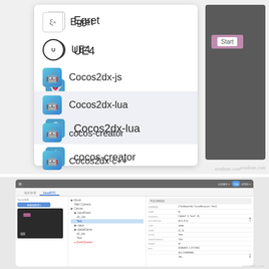[Figure (screenshot): A dropdown menu showing game engine options: Egret, UE4, Cocos2dx-js, Cocos2dx-lua (selected/highlighted), cocos-creator, Cocos2dx-c++. On the right is a dark game preview panel with a 'Start' button.]
[Figure (screenshot): A web-based game development IDE screenshot showing a project structure panel on the left, a scene hierarchy tree in the middle, and an inspector/properties panel on the right with various component properties listed.]